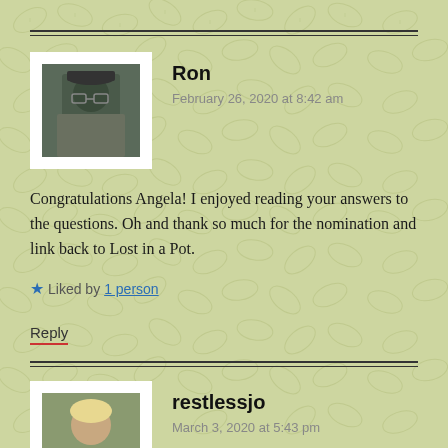Ron
February 26, 2020 at 8:42 am
Congratulations Angela! I enjoyed reading your answers to the questions. Oh and thank so much for the nomination and link back to Lost in a Pot.
Liked by 1 person
Reply
restlessjo
March 3, 2020 at 5:43 pm